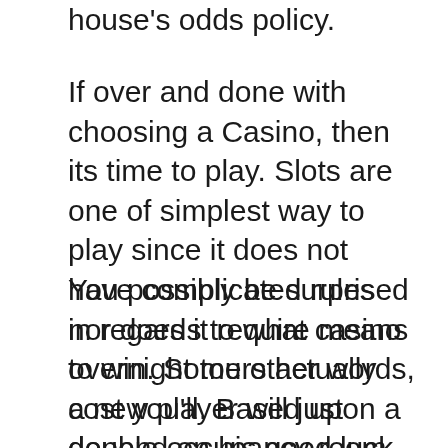house's odds policy.
If over and done with choosing a Casino, then its time to play. Slots are one of simplest way to play since it does not have complicated rules nor does it require means to win. Some other words, a new player will just depend on his good luck, if you find any.
You possibly be surprised in regards to what casino overnight tours actually cost you'll. Based upon a double occupancy room, can easily end up costing you less than $100 per person. Should get include the area itself and also your transportation to and from the casino. There are also many perks provided with different gambling establishments. When you pay for the transportation.